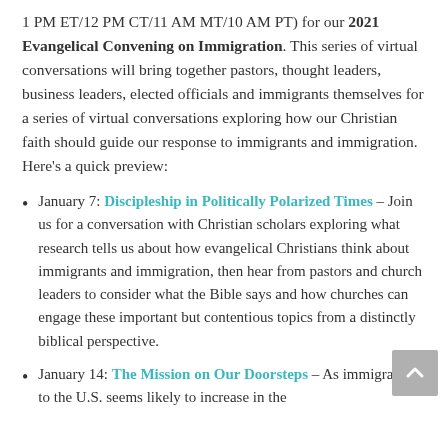1 PM ET/12 PM CT/11 AM MT/10 AM PT) for our 2021 Evangelical Convening on Immigration. This series of virtual conversations will bring together pastors, thought leaders, business leaders, elected officials and immigrants themselves for a series of virtual conversations exploring how our Christian faith should guide our response to immigrants and immigration. Here's a quick preview:
January 7: Discipleship in Politically Polarized Times – Join us for a conversation with Christian scholars exploring what research tells us about how evangelical Christians think about immigrants and immigration, then hear from pastors and church leaders to consider what the Bible says and how churches can engage these important but contentious topics from a distinctly biblical perspective.
January 14: The Mission on Our Doorsteps – As immigration to the U.S. seems likely to increase in the